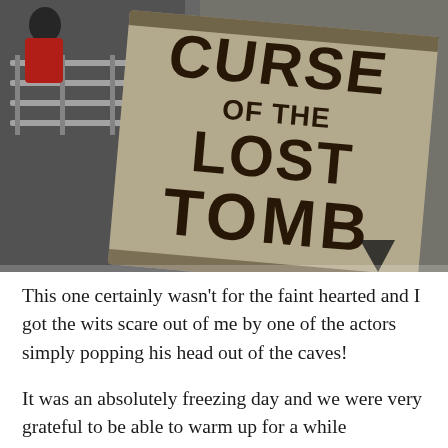[Figure (photo): Photo of a large weathered wooden/stone sign reading 'CURSE OF THE LOST TOMB' in dramatic burned lettering, angled against a concrete wall. Metal crowd barriers and a person in a red jacket visible on the left side. Dark, moody outdoor setting.]
This one certainly wasn't for the faint hearted and I got the wits scare out of me by one of the actors simply popping his head out of the caves!
It was an absolutely freezing day and we were very grateful to be able to warm up for a while in the Sealife Centre where the children could learn